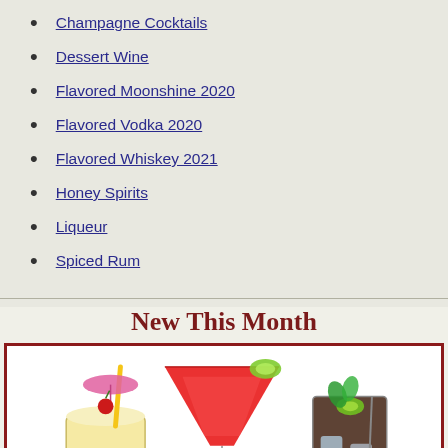Champagne Cocktails
Dessert Wine
Flavored Moonshine 2020
Flavored Vodka 2020
Flavored Whiskey 2021
Honey Spirits
Liqueur
Spiced Rum
New This Month
[Figure (photo): Three cocktail drinks on white background: a creamy yellow drink with umbrella and cherry, a red frozen martini with lime, and a dark iced drink with mint and lime.]